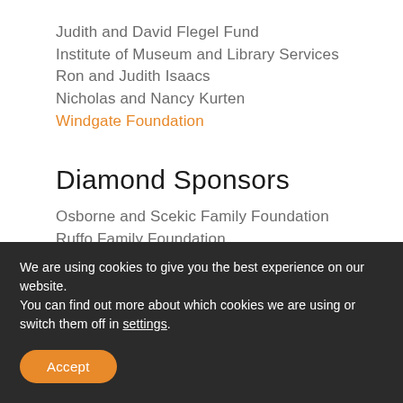Judith and David Flegel Fund
Institute of Museum and Library Services
Ron and Judith Isaacs
Nicholas and Nancy Kurten
Windgate Foundation
Diamond Sponsors
Osborne and Scekic Family Foundation
Ruffo Family Foundation
Gold Sponsors
Anonymous
David Charak
We are using cookies to give you the best experience on our website.
You can find out more about which cookies we are using or switch them off in settings.
Accept